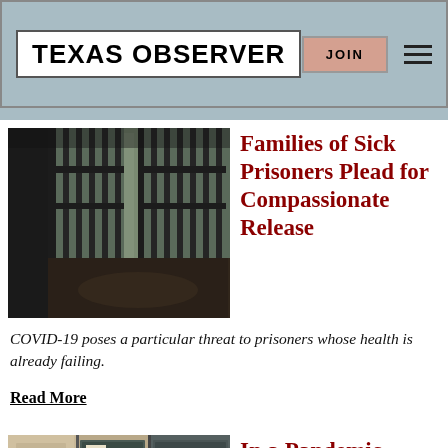TEXAS OBSERVER
Families of Sick Prisoners Plead for Compassionate Release
[Figure (photo): Prison cell bars interior, dark corridor with metal bars]
COVID-19 poses a particular threat to prisoners whose health is already failing.
Read More
[Figure (photo): Filing cabinet or locker with label 'lc']
In a Pandemic,